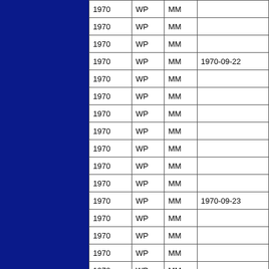| 1970 | WP | MM |  |
| 1970 | WP | MM |  |
| 1970 | WP | MM |  |
| 1970 | WP | MM | 1970-09-22 |
| 1970 | WP | MM |  |
| 1970 | WP | MM |  |
| 1970 | WP | MM |  |
| 1970 | WP | MM |  |
| 1970 | WP | MM |  |
| 1970 | WP | MM |  |
| 1970 | WP | MM |  |
| 1970 | WP | MM | 1970-09-23 |
| 1970 | WP | MM |  |
| 1970 | WP | MM |  |
| 1970 | WP | MM |  |
| 1970 | WP | MM |  |
| 1970 | WP | MM |  |
| 1970 | WP | MM |  |
| 1970 | WP | MM |  |
| 1970 | WP | MM | 1970-09-24 |
| 1970 | WP | MM |  |